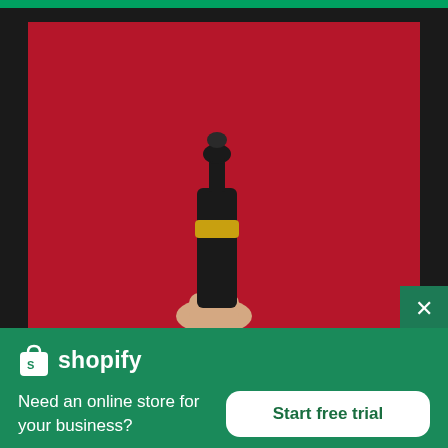[Figure (photo): A hand holding a black dropper bottle with a gold ring detail, photographed against a vivid red/crimson background. The bottle cap is dark and the gold band is visible near the top of the bottle. Only the top of the hand is visible at the bottom of the image.]
shopify
Need an online store for your business?
Start free trial